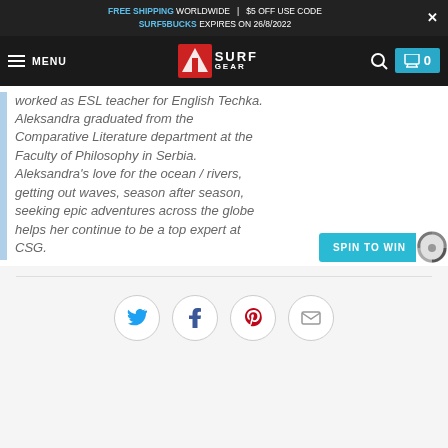FREE SHIPPING WORLDWIDE | $5 OFF USE CODE SURF5BUCKS EXPIRES ON 26/8/2022
[Figure (logo): Surf Gear logo with navigation bar including MENU, search icon, and cart showing 0]
worked as ESL teacher for English Techka. Aleksandra graduated from the Comparative Literature department at the Faculty of Philosophy in Serbia. Aleksandra's love for the ocean / rivers, getting out waves, season after season, seeking epic adventures across the globe helps her continue to be a top expert at CSG.
[Figure (infographic): SPIN TO WIN button with spinner wheel graphic on the right side]
[Figure (infographic): Social sharing icons: Twitter (blue), Facebook (dark), Pinterest (red), Email (grey) — all circular buttons]